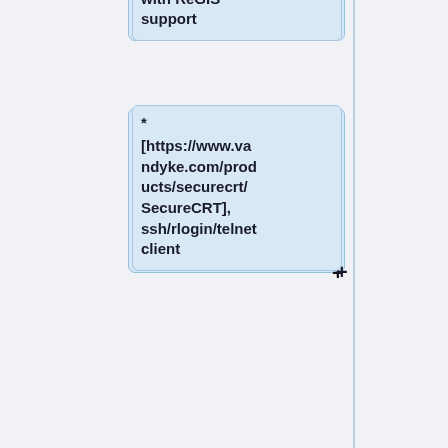* with ReGIS support
* [https://www.vandyke.com/products/securecrt/ SecureCRT], ssh/rlogin/telnet client
* [http://www.kermitproject.org/k95.html Kermit 95], kermit client with 40 built-in terminal emulations
* [[wikipedia:TeraTerm|Tera Term]], telnet,